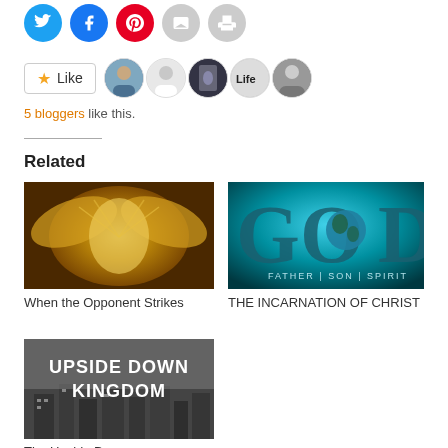[Figure (infographic): Social sharing icon buttons: Twitter (blue circle), Facebook (blue circle), Pinterest (red circle), Email (gray circle), Print (gray circle)]
[Figure (infographic): WordPress Like button with star icon and 5 blogger avatar thumbnails]
5 bloggers like this.
Related
[Figure (photo): Golden angel or supernatural figure – thumbnail for 'When the Opponent Strikes']
When the Opponent Strikes
[Figure (photo): GOD Father Son Spirit teal background image – thumbnail for 'THE INCARNATION OF CHRIST']
THE INCARNATION OF CHRIST
[Figure (photo): Upside Down Kingdom grayscale city image with text overlay]
The Upside Down